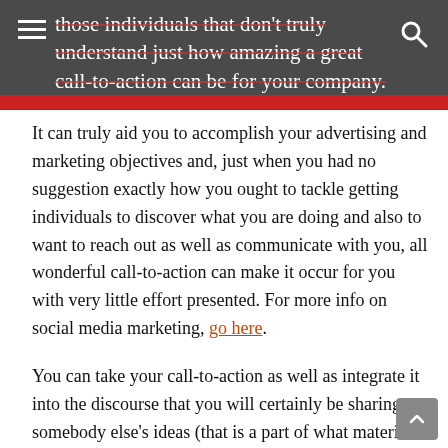those individuals that don't truly understand just how amazing a great call-to-action can be for your company.
It can truly aid you to accomplish your advertising and marketing objectives and, just when you had no suggestion exactly how you ought to tackle getting individuals to discover what you are doing and also to want to reach out as well as communicate with you, all wonderful call-to-action can make it occur for you with very little effort presented. For more info on social media marketing, go here.
You can take your call-to-action as well as integrate it into the discourse that you will certainly be sharing on somebody else's ideas (that is a part of what material curation is all about).
This will enable you to contextualize your call-to-action as